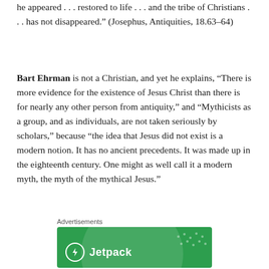he appeared . . . restored to life . . . and the tribe of Christians . . . has not disappeared.” (Josephus, Antiquities, 18.63–64)
Bart Ehrman is not a Christian, and yet he explains, “There is more evidence for the existence of Jesus Christ than there is for nearly any other person from antiquity,” and “Mythicists as a group, and as individuals, are not taken seriously by scholars,” because “the idea that Jesus did not exist is a modern notion. It has no ancient precedents. It was made up in the eighteenth century. One might as well call it a modern myth, the myth of the mythical Jesus.”
Advertisements
[Figure (logo): Jetpack advertisement banner with green background, circular design element, white dots, and Jetpack logo with lightning bolt icon]